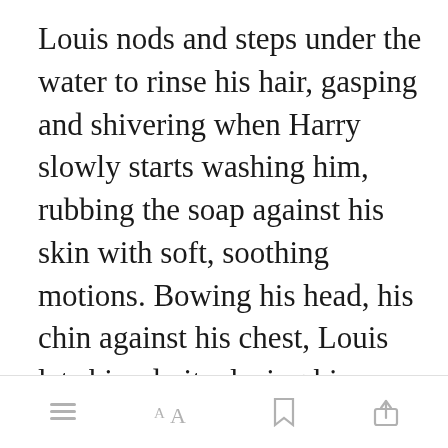Louis nods and steps under the water to rinse his hair, gasping and shivering when Harry slowly starts washing him, rubbing the soap against his skin with soft, soothing motions. Bowing his head, his chin against his chest, Louis lets him do it, closing his eyes under Harry's deft hands and the way he massages the knots out of his neck.
[menu icon] [font size icon] [bookmark icon] [share icon]